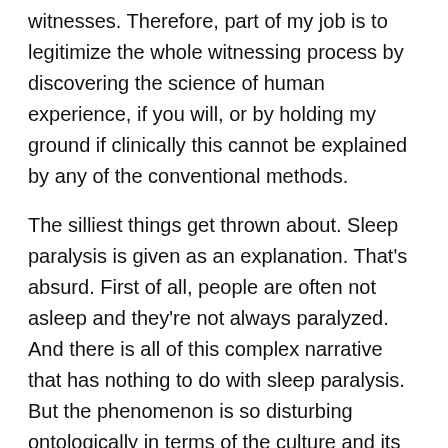witnesses. Therefore, part of my job is to legitimize the whole witnessing process by discovering the science of human experience, if you will, or by holding my ground if clinically this cannot be explained by any of the conventional methods.
The silliest things get thrown about. Sleep paralysis is given as an explanation. That's absurd. First of all, people are often not asleep and they're not always paralyzed. And there is all of this complex narrative that has nothing to do with sleep paralysis. But the phenomenon is so disturbing ontologically in terms of the culture and its basic assumptions about reality, that there is what I call the "anything but" phenomenon. As soon as anybody, anywhere, comes up with an idea — even if it's only related tangentially to a tiny fragment of the experience — then the papers, The New York Times or whatever, say "The